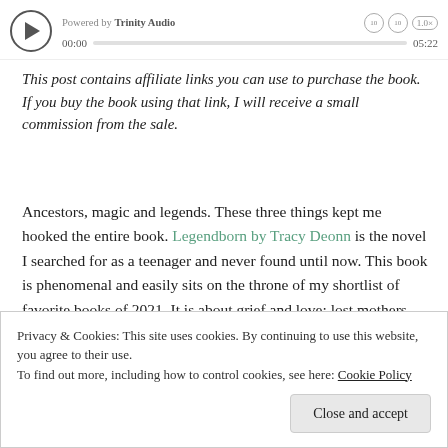[Figure (other): Audio player bar showing play button, 'Powered by Trinity Audio' label, skip buttons, 1.0x speed, time 00:00 and 05:22, progress bar]
This post contains affiliate links you can use to purchase the book. If you buy the book using that link, I will receive a small commission from the sale.
Ancestors, magic and legends. These three things kept me hooked the entire book. Legendborn by Tracy Deonn is the novel I searched for as a teenager and never found until now. This book is phenomenal and easily sits on the throne of my shortlist of favorite books of 2021. It is about grief and love; lost mothers and family legacy; power and intent; mystery and self-discovery. Here is my review of this fantastic book, including a list of 5 reasons
Privacy & Cookies: This site uses cookies. By continuing to use this website, you agree to their use.
To find out more, including how to control cookies, see here: Cookie Policy
Close and accept